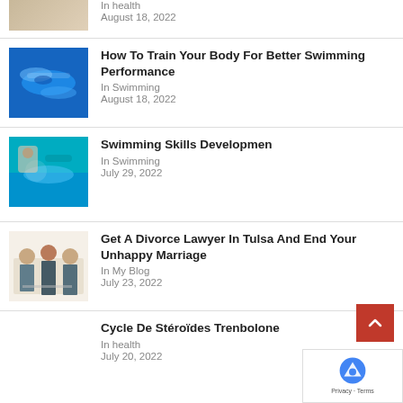In health
August 18, 2022
[Figure (photo): Person swimming in a pool, blue water]
How To Train Your Body For Better Swimming Performance
In Swimming
August 18, 2022
[Figure (photo): Instructor teaching a child swimming with pool noodles]
Swimming Skills Developmen
In Swimming
July 29, 2022
[Figure (photo): Business people in a meeting, legal consultation]
Get A Divorce Lawyer In Tulsa And End Your Unhappy Marriage
In My Blog
July 23, 2022
Cycle De Stéroïdes Trenbolone
In health
July 20, 2022